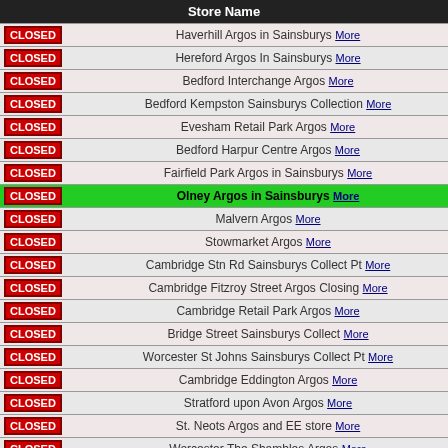| Store Name |
| --- |
| CLOSED | Haverhill Argos in Sainsburys More |
| CLOSED | Hereford Argos In Sainsburys More |
| CLOSED | Bedford Interchange Argos More |
| CLOSED | Bedford Kempston Sainsburys Collection More |
| CLOSED | Evesham Retail Park Argos More |
| CLOSED | Bedford Harpur Centre Argos More |
| CLOSED | Fairfield Park Argos in Sainsburys More |
| CLOSED | Olney Argos in Sainsburys More |
| CLOSED | Malvern Argos More |
| CLOSED | Stowmarket Argos More |
| CLOSED | Cambridge Stn Rd Sainsburys Collect Pt More |
| CLOSED | Cambridge Fitzroy Street Argos Closing More |
| CLOSED | Cambridge Retail Park Argos More |
| CLOSED | Bridge Street Sainsburys Collect More |
| CLOSED | Worcester St Johns Sainsburys Collect Pt More |
| CLOSED | Cambridge Eddington Argos More |
| CLOSED | Stratford upon Avon Argos More |
| CLOSED | St. Neots Argos and EE store More |
| CLOSED | Worcester The Shambles Argos More |
| CLOSED | Lampeter Sainsburys Collection Point More |
| CLOSED | Weedon Road Argos in Sainsburys More |
| CLOSED | Northampton St. Peters Square Argos More |